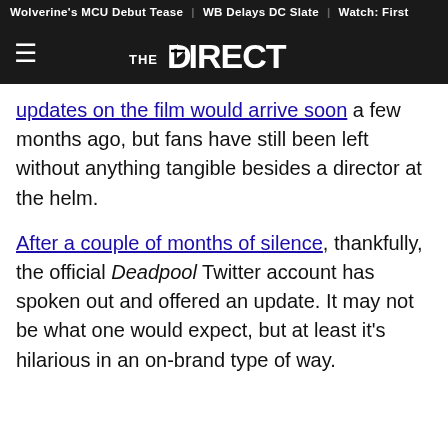Wolverine's MCU Debut Tease | WB Delays DC Slate | Watch: First
[Figure (logo): The Direct website logo — hamburger menu icon on left, 'THE DIRECT' logo centered in white on dark background]
updates on the film would arrive soon a few months ago, but fans have still been left without anything tangible besides a director at the helm.
After a couple of months of silence, thankfully, the official Deadpool Twitter account has spoken out and offered an update. It may not be what one would expect, but at least it's hilarious in an on-brand type of way.